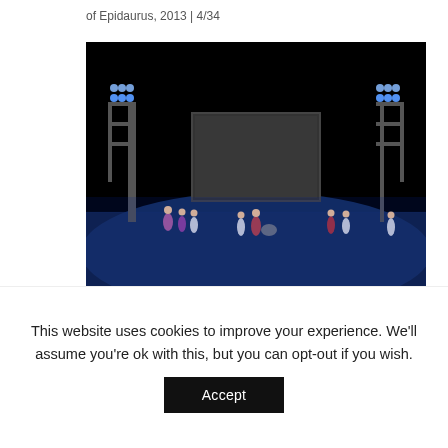of Epidaurus, 2013 | 4/34
[Figure (photo): Theatre performance at night: performers on a blue-lit stage at the Ancient Theatre of Epidaurus, with stage lighting rigs on both sides and a large backdrop image.]
Euripides, Cyclops, National Theatre of Greece, Ancient Theatre of Epidaurus, 2013 | 5/34
[Figure (photo): Partial view of the next image, showing a dark bar at the top.]
This website uses cookies to improve your experience. We'll assume you're ok with this, but you can opt-out if you wish.